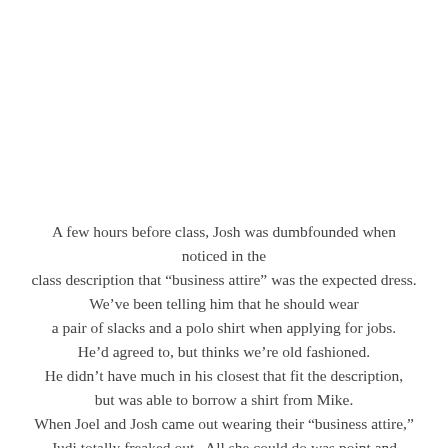A few hours before class, Josh was dumbfounded when noticed in the class description that “business attire” was the expected dress. We’ve been telling him that he should wear a pair of slacks and a polo shirt when applying for jobs. He’d agreed to, but thinks we’re old fashioned. He didn’t have much in his closest that fit the description, but was able to borrow a shirt from Mike. When Joel and Josh came out wearing their “business attire,” Judi totally freaked out.  All she could do was point and yell, “Nerd.  Nerd.  Where’s your pocket protector?”